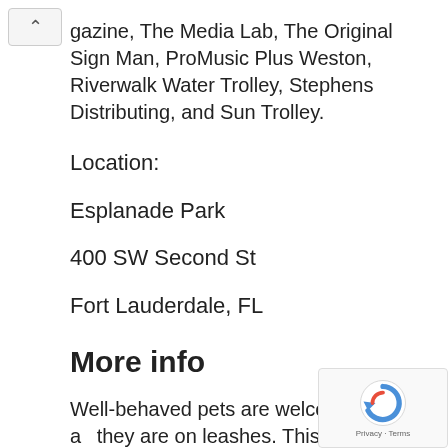gazine, The Media Lab, The Original Sign Man, ProMusic Plus Weston, Riverwalk Water Trolley, Stephens Distributing, and Sun Trolley.
Location:
Esplanade Park
400 SW Second St
Fort Lauderdale, FL
More info
Well-behaved pets are welcome as long as they are on leashes. This is a rain or shine fundraising event.